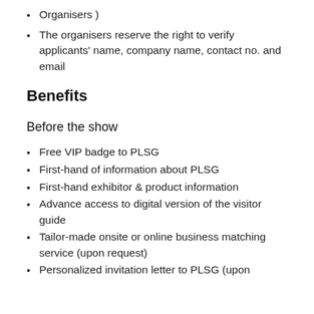Organisers )
The organisers reserve the right to verify applicants' name, company name, contact no. and email
Benefits
Before the show
Free VIP badge to PLSG
First-hand of information about PLSG
First-hand exhibitor & product information
Advance access to digital version of the visitor guide
Tailor-made onsite or online business matching service (upon request)
Personalized invitation letter to PLSG (upon